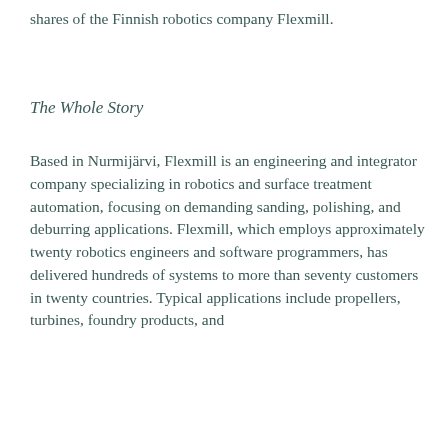shares of the Finnish robotics company Flexmill.
The Whole Story
Based in Nurmijärvi, Flexmill is an engineering and integrator company specializing in robotics and surface treatment automation, focusing on demanding sanding, polishing, and deburring applications. Flexmill, which employs approximately twenty robotics engineers and software programmers, has delivered hundreds of systems to more than seventy customers in twenty countries. Typical applications include propellers, turbines, foundry products, and